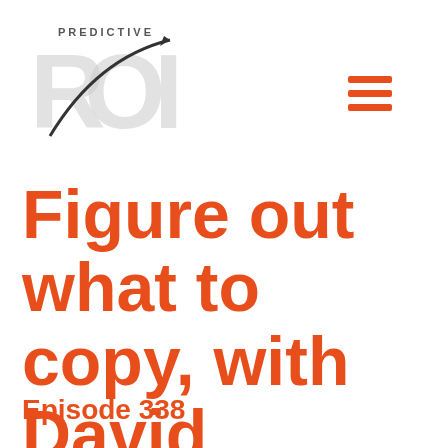[Figure (logo): Predictive ROI logo with stylized 'ROI' text and upward arrow curve]
[Figure (other): Hamburger menu icon with three orange horizontal lines]
Figure out what to copy, with David Burkus.
Episode 338